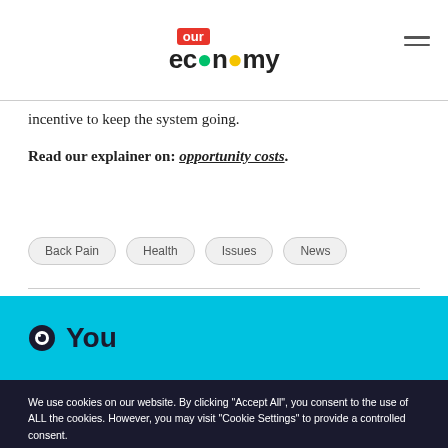our economy
incentive to keep the system going.
Read our explainer on: opportunity costs.
Back Pain
Health
Issues
News
You
We use cookies on our website. By clicking "Accept All", you consent to the use of ALL the cookies. However, you may visit "Cookie Settings" to provide a controlled consent.